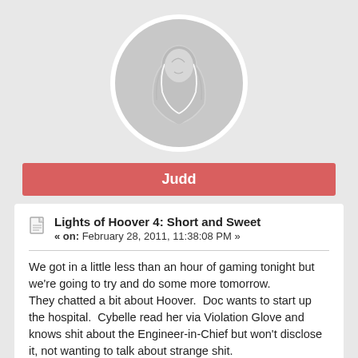[Figure (illustration): Circular avatar image with a grey background showing a stylized illustration of a figure wearing a hood or veil, drawn in white lines on grey.]
Judd
Lights of Hoover 4: Short and Sweet
« on: February 28, 2011, 11:38:08 PM »
We got in a little less than an hour of gaming tonight but we're going to try and do some more tomorrow.
They chatted a bit about Hoover.  Doc wants to start up the hospital.  Cybelle read her via Violation Glove and knows shit about the Engineer-in-Chief but won't disclose it, not wanting to talk about strange shit.
When they pulled up to Cocktail, there was a military grade humvee parked out front and a guy playing